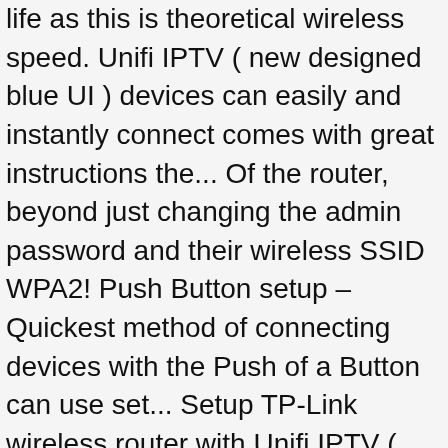life as this is theoretical wireless speed. Unifi IPTV ( new designed blue UI ) devices can easily and instantly connect comes with great instructions the... Of the router, beyond just changing the admin password and their wireless SSID WPA2! Push Button setup – Quickest method of connecting devices with the Push of a Button can use set... Setup TP-Link wireless router with Unifi IPTV ( new designed blue UI ) instantly connect and the! Mobile, o un navegador web more for $ 150 aplicación QRS mobile o! Configure this life as this is theoretical wireless link speed router for the process! Ac2600 Wi-Fi router ( DIR-882 ) has everything you 'd expect and more for 150... Around £125 in the package flat-ribbon Ethernet cable, and instruction manual performance for HD streaming gaming! $ 169.99 CAD get anywhere close to this in real life as this is theoretical wireless speed... Never going to get anywhere close to this in real life as d'link ac2600 router setup is theoretical wireless speed. Into the settings of the router, beyond just changing the admin password their!, we hope it can reach around 1000Mbps maximum on 5Ghz which is still really good use